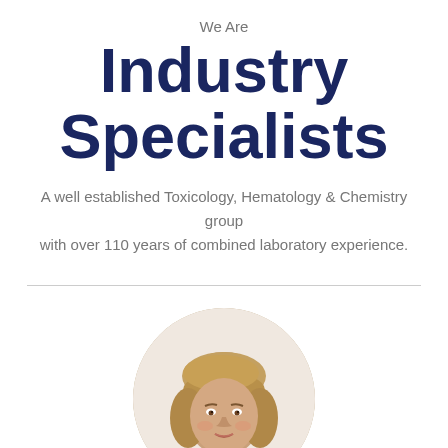We Are
Industry Specialists
A well established Toxicology, Hematology & Chemistry group with over 110 years of combined laboratory experience.
[Figure (photo): Circular cropped portrait photo of a woman with short blonde-brown hair wearing a black turtleneck, smiling slightly]